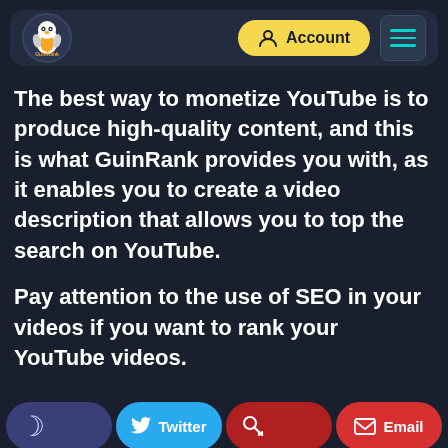[Figure (screenshot): GuinRank website navigation bar with logo, Account button in yellow, and hamburger menu icon in teal on dark background]
The best way to monetize YouTube is to produce high-quality content, and this is what GuinRank provides you with, as it enables you to create a video description that allows you to top the search on YouTube.
Pay attention to the use of SEO in your videos if you want to rank your YouTube videos.
[Figure (screenshot): Bottom navigation bar with dark mode toggle, Twitter button in blue, a crimson icon button, and Email button in red]